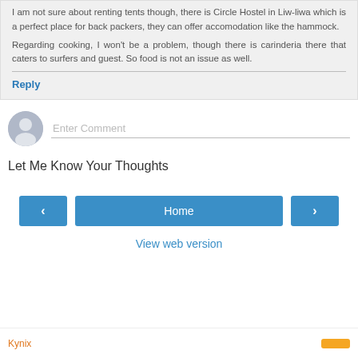I am not sure about renting tents though, there is Circle Hostel in Liw-liwa which is a perfect place for back packers, they can offer accomodation like the hammock. Regarding cooking, I won't be a problem, though there is carinderia there that caters to surfers and guest. So food is not an issue as well.
Reply
Enter Comment
Let Me Know Your Thoughts
Home
View web version
Kynix